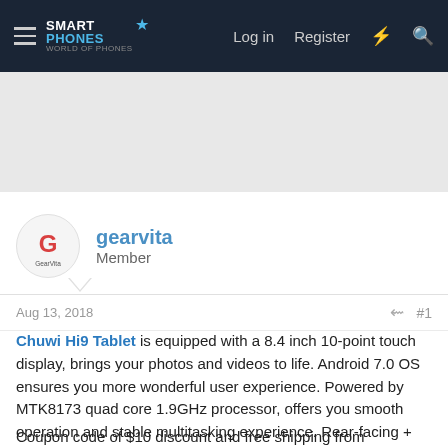SMARTPHONES | Log in | Register
[Figure (other): Advertisement banner placeholder area]
gearvita
Member
Aug 13, 2018
#1
Chuwi Hi9 Tablet is equipped with a 8.4 inch 10-point touch display, brings your photos and videos to life. Android 7.0 OS ensures you more wonderful user experience. Powered by MTK8173 quad core 1.9GHz processor, offers you smooth operation and stable multitasking experience. Rear-facing + front dual camera for capturing memorable moments and high quality pictures in daily life.
Coupon code of $10 discount and free shipping from GearVita: CHUWIHI9